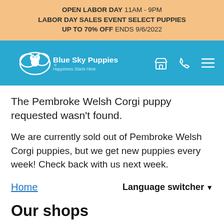OPEN LABOR DAY 11AM - 9PM LABOR DAY SALES EVENT SELECT PUPPIES UP TO 70% OFF ENDS 9/6/2022
[Figure (logo): Blue Sky Puppies logo with dog in cloud icon, white on blue background, tagline: Happiness Starts Here]
The Pembroke Welsh Corgi puppy requested wasn't found.
We are currently sold out of Pembroke Welsh Corgi puppies, but we get new puppies every week! Check back with us next week.
Home
Language switcher
Our shops